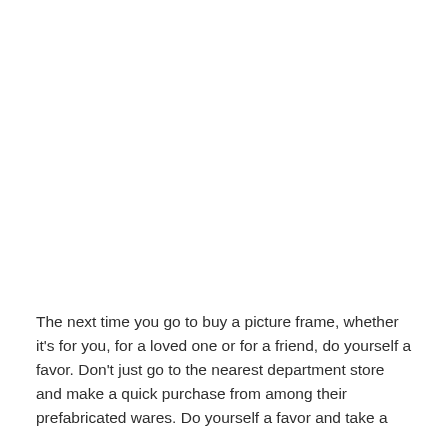The next time you go to buy a picture frame, whether it's for you, for a loved one or for a friend, do yourself a favor. Don't just go to the nearest department store and make a quick purchase from among their prefabricated wares. Do yourself a favor and take a